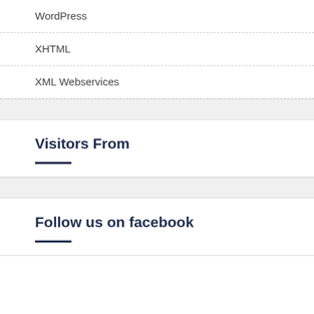WordPress
XHTML
XML Webservices
Visitors From
Follow us on facebook